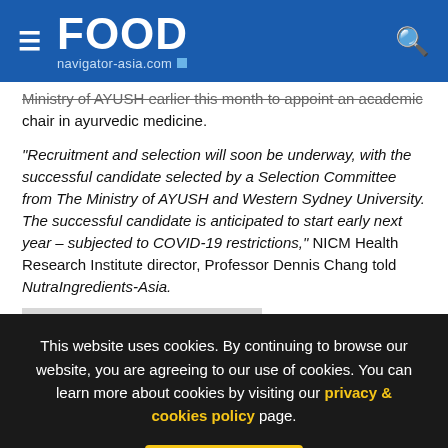FOOD navigator-asia.com
Ministry of AYUSH earlier this month to appoint an academic chair in ayurvedic medicine.
“Recruitment and selection will soon be underway, with the successful candidate selected by a Selection Committee from The Ministry of AYUSH and Western Sydney University. The successful candidate is anticipated to start early next year – subjected to COVID-19 restrictions,” NICM Health Research Institute director, Professor Dennis Chang told NutraIngredients-Asia.
This website uses cookies. By continuing to browse our website, you are agreeing to our use of cookies. You can learn more about cookies by visiting our privacy & cookies policy page.
I Agree